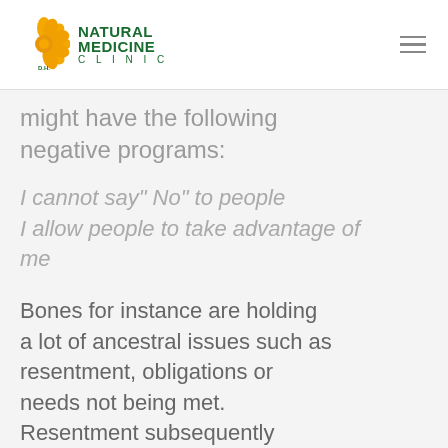Natural Medicine Clinic
might have the following negative programs:
I cannot say" No" to people
I allow people to take advantage of me
Bones for instance are holding a lot of ancestral issues such as resentment, obligations or needs not being met. Resentment subsequently attracts fungus (Candida) into the body. Therefore any Theta healing usually consists of a